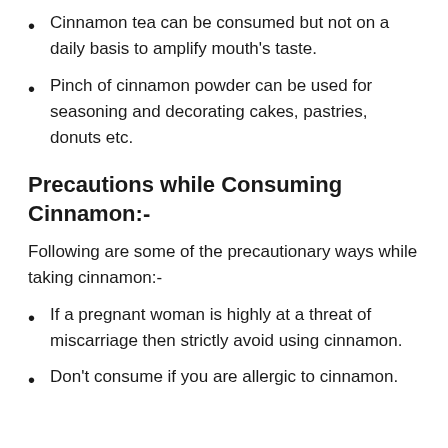Cinnamon tea can be consumed but not on a daily basis to amplify mouth’s taste.
Pinch of cinnamon powder can be used for seasoning and decorating cakes, pastries, donuts etc.
Precautions while Consuming Cinnamon:-
Following are some of the precautionary ways while taking cinnamon:-
If a pregnant woman is highly at a threat of miscarriage then strictly avoid using cinnamon.
Don’t consume if you are allergic to cinnamon.